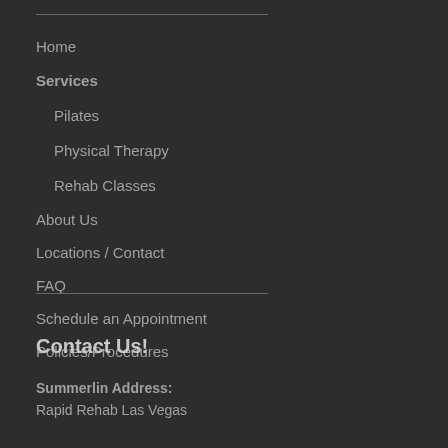Home
Services
Pilates
Physical Therapy
Rehab Classes
About Us
Locations / Contact
FAQ
Schedule an Appointment
Policies/Procedures
Contact Us!
Summerlin Address:
Rapid Rehab Las Vegas